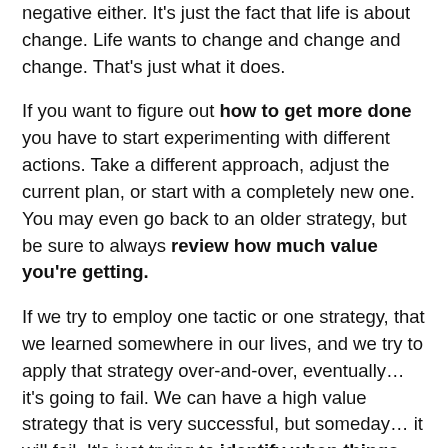negative either. It's just the fact that life is about change. Life wants to change and change and change. That's just what it does.
If you want to figure out how to get more done you have to start experimenting with different actions. Take a different approach, adjust the current plan, or start with a completely new one. You may even go back to an older strategy, but be sure to always review how much value you're getting.
If we try to employ one tactic or one strategy, that we learned somewhere in our lives, and we try to apply that strategy over-and-over, eventually… it's going to fail. We can have a high value strategy that is very successful, but someday… it will fail. It's just trying to identify when things has changed enough that the current strategy is no longer effective.
And the way you figure that out is by trying more new things.